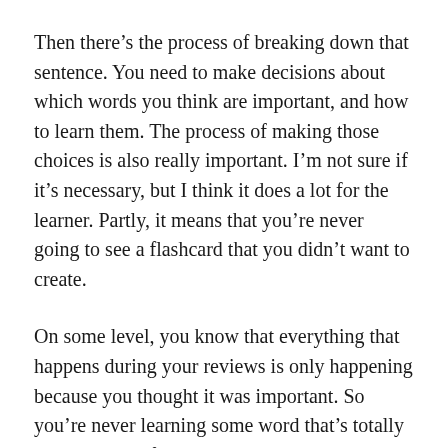Then there's the process of breaking down that sentence. You need to make decisions about which words you think are important, and how to learn them. The process of making those choices is also really important. I'm not sure if it's necessary, but I think it does a lot for the learner. Partly, it means that you're never going to see a flashcard that you didn't want to create.
On some level, you know that everything that happens during your reviews is only happening because you thought it was important. So you're never learning some word that's totally irrelevant and feeling like you're wasting your time. That helps with fatigue and motivation.